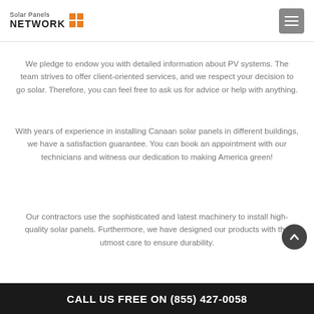Solar Panels NETWORK
We pledge to endow you with detailed information about PV systems. The team strives to offer client-oriented services, and we respect your decision to go solar. Therefore, you can feel free to ask us for advice or help with anything.
With years of experience in installing Canaan solar panels in different buildings, we have a satisfaction guarantee. You can book an appointment with our technicians and witness our dedication to making America green!
Our contractors use the sophisticated and latest machinery to install high-quality solar panels. Furthermore, we have designed our products with the utmost care to ensure durability.
CALL US FREE ON (855) 427-0058